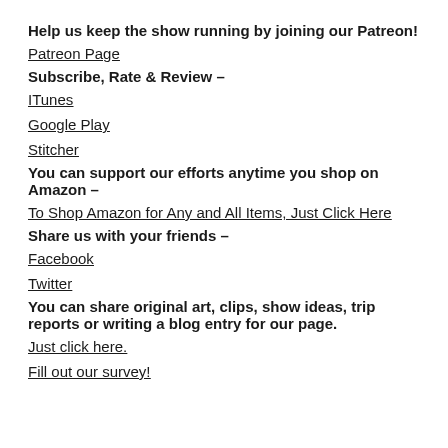Help us keep the show running by joining our Patreon!
Patreon Page
Subscribe, Rate & Review –
ITunes
Google Play
Stitcher
You can support our efforts anytime you shop on Amazon –
To Shop Amazon for Any and All Items, Just Click Here
Share us with your friends –
Facebook
Twitter
You can share original art, clips, show ideas, trip reports or writing a blog entry for our page.
Just click here.
Fill out our survey!